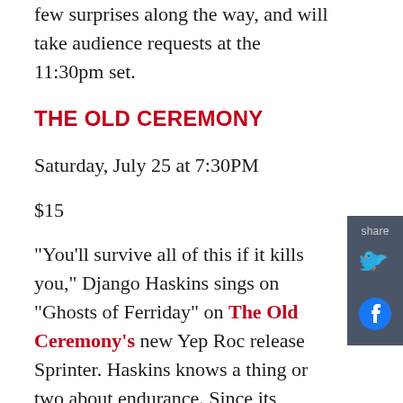few surprises along the way, and will take audience requests at the 11:30pm set.
THE OLD CEREMONY
Saturday, July 25 at 7:30PM
$15
"You'll survive all of this if it kills you," Django Haskins sings on "Ghosts of Ferriday" on The Old Ceremony's new Yep Roc release Sprinter. Haskins knows a thing or two about endurance. Since its formation in 2004, The Old Ceremony has built a body of recordings that evoke a distinctive musical and lyrical sensibility, while tapping into a rich, unmistakably Southern vein of melodic song-craft and vivid storytelling. In the process, the iconoclastic North Carolina quintet has won a loyal fan base that loves the band's lush, emotionally resonant albums